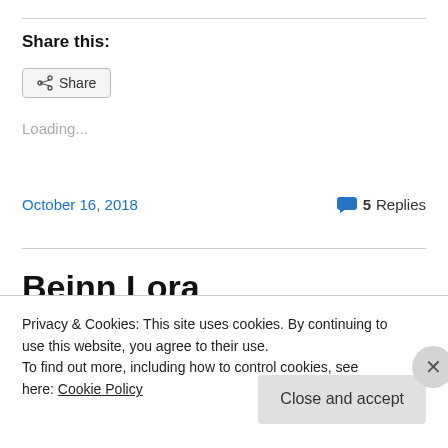Share this:
[Figure (other): Share button with share icon]
Loading...
October 16, 2018   5 Replies
Beinn Lora
Privacy & Cookies: This site uses cookies. By continuing to use this website, you agree to their use.
To find out more, including how to control cookies, see here: Cookie Policy